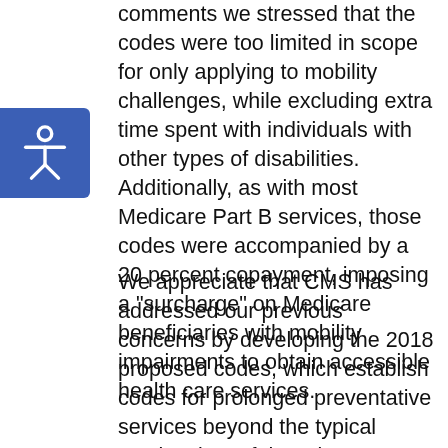comments we stressed that the codes were too limited in scope for only applying to mobility challenges, while excluding extra time spent with individuals with other types of disabilities. Additionally, as with most Medicare Part B services, those codes were accompanied by a 20 percent copayment, imposing a "surcharge" on Medicare beneficiaries with mobility impairments to obtain accessible health care services.
We appreciate that CMS has addressed our previous concerns by developing the 2018 proposed codes, which establish codes for prolonged preventative services beyond the typical service time of the primary procedure in 30 minute increments. The "G" codes in the